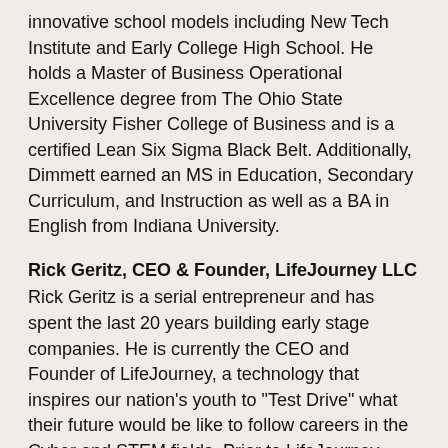innovative school models including New Tech Institute and Early College High School. He holds a Master of Business Operational Excellence degree from The Ohio State University Fisher College of Business and is a certified Lean Six Sigma Black Belt. Additionally, Dimmett earned an MS in Education, Secondary Curriculum, and Instruction as well as a BA in English from Indiana University.
Rick Geritz, CEO & Founder, LifeJourney LLC
Rick Geritz is a serial entrepreneur and has spent the last 20 years building early stage companies. He is currently the CEO and Founder of LifeJourney, a technology that inspires our nation's youth to "Test Drive" what their future would be like to follow careers in the Cyber and STEM fields. Prior to LifeJourney, Geritz was the President and CEO of BDMetrics, an online business matchmaking technology for the tradeshow industry. In addition, he held senior level executive roles for SafeNet where he was President and GM responsible for their VPN software, hardware and silicon businesses. Before SafeNet, Geritz was the Executive Vice President and a board member at Rockville based ICARUS Corporation – an engineering simulation software company